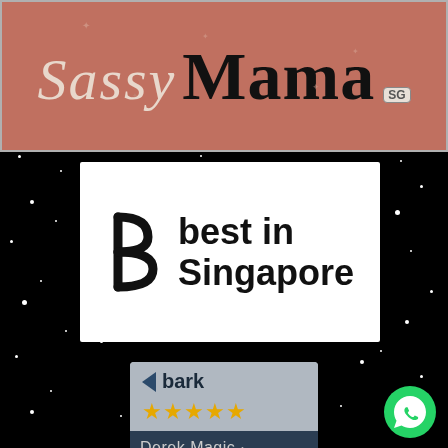[Figure (logo): Sassy Mama SG logo on mauve/rose background with decorative border]
[Figure (logo): Best in Singapore logo — stylized b/3 icon with bold text 'best in Singapore' on white background]
[Figure (logo): Bark.com 5-star rating card for Derek Magic. Top half: bark logo with arrow icon on grey background with gold stars. Bottom half: dark navy band with text 'Derek Magic']
[Figure (logo): WhatsApp green circle icon in bottom right corner]